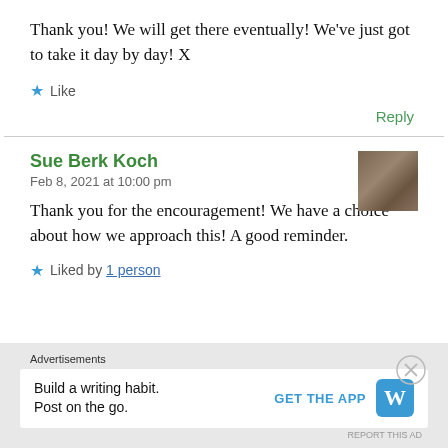Thank you! We will get there eventually! We've just got to take it day by day! X
Like
Reply
Sue Berk Koch
Feb 8, 2021 at 10:00 pm
[Figure (photo): Small avatar photo of Sue Berk Koch, appears to show a brown/tan textured image]
Thank you for the encouragement! We have a choice about how we approach this! A good reminder.
Liked by 1 person
Advertisements
Build a writing habit. Post on the go.
GET THE APP